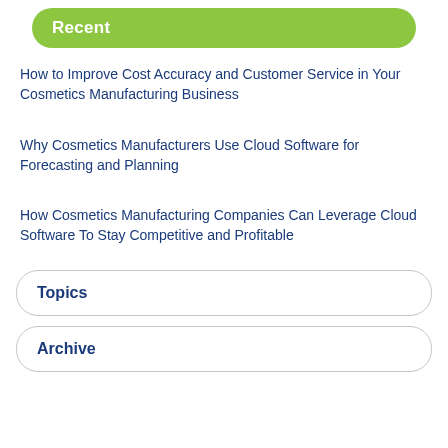Recent
How to Improve Cost Accuracy and Customer Service in Your Cosmetics Manufacturing Business
Why Cosmetics Manufacturers Use Cloud Software for Forecasting and Planning
How Cosmetics Manufacturing Companies Can Leverage Cloud Software To Stay Competitive and Profitable
Topics
Archive